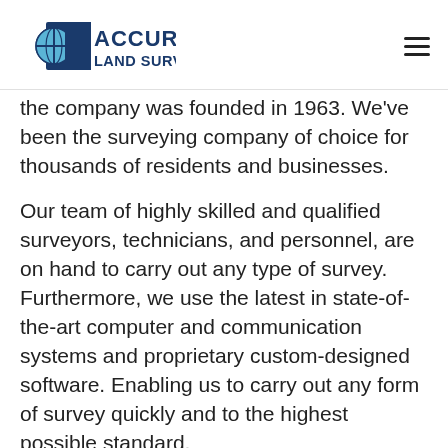[Figure (logo): Accurate Land Surveyors logo with blue globe/crosshair icon and bold blue text]
the company was founded in 1963. We've been the surveying company of choice for thousands of residents and businesses.
Our team of highly skilled and qualified surveyors, technicians, and personnel, are on hand to carry out any type of survey. Furthermore, we use the latest in state-of-the-art computer and communication systems and proprietary custom-designed software. Enabling us to carry out any form of survey quickly and to the highest possible standard.
Accurate Land Surveyors also the...